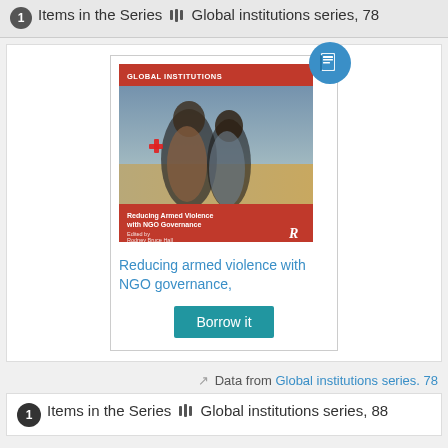Items in the Series ||| Global institutions series, 78
[Figure (illustration): Book cover for 'Reducing Armed Violence with NGO Governance' showing people in distress, part of the Global Institutions series, with a blue book icon badge overlay]
Reducing armed violence with NGO governance,
Borrow it
Data from Global institutions series. 78
Items in the Series ||| Global institutions series, 88